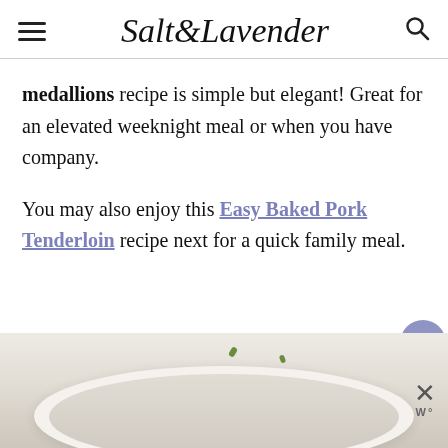Salt & Lavender
medallions recipe is simple but elegant! Great for an elevated weeknight meal or when you have company.

You may also enjoy this Easy Baked Pork Tenderloin recipe next for a quick family meal.
[Figure (photo): Partial view of a white bowl containing a creamy sauce or soup, photographed from above on a white surface with herb garnish.]